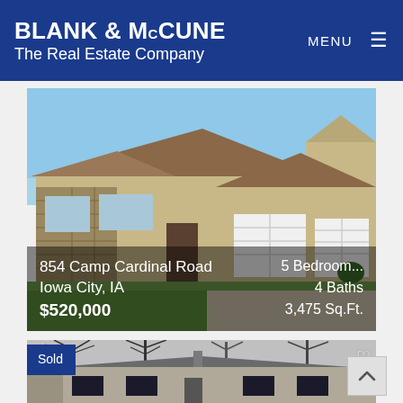BLANK & McCUNE The Real Estate Company | MENU
[Figure (photo): Exterior photo of a ranch-style house with stone accents, beige siding, two-car garage, and green lawn at 854 Camp Cardinal Road, Iowa City, IA]
854 Camp Cardinal Road
Iowa City, IA
$520,000
5 Bedroom...
4 Baths
3,475 Sq.Ft.
[Figure (photo): Black and white photo of a mid-century ranch house with bare trees in winter]
Sold